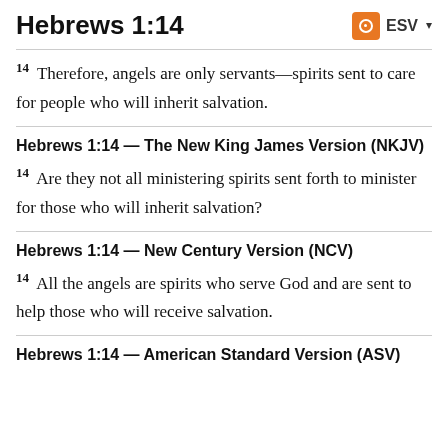Hebrews 1:14
14 Therefore, angels are only servants—spirits sent to care for people who will inherit salvation.
Hebrews 1:14 — The New King James Version (NKJV)
14 Are they not all ministering spirits sent forth to minister for those who will inherit salvation?
Hebrews 1:14 — New Century Version (NCV)
14 All the angels are spirits who serve God and are sent to help those who will receive salvation.
Hebrews 1:14 — American Standard Version (ASV)